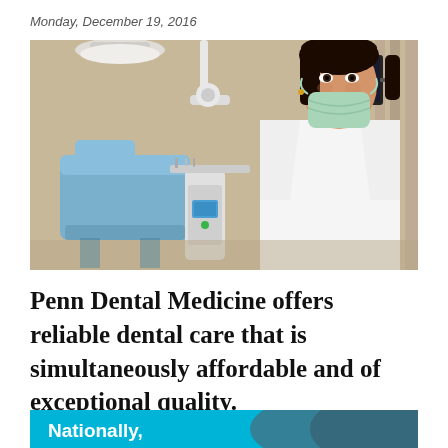Monday, December 19, 2016
[Figure (photo): A smiling female dental professional wearing a white coat and surgical mask pulled down below chin, standing next to a dental chair and equipment in a dental office setting.]
Penn Dental Medicine offers reliable dental care that is simultaneously affordable and of exceptional quality.
[Figure (infographic): Blue and teal banner with white text reading 'Nationally,' — partial view of an infographic banner.]